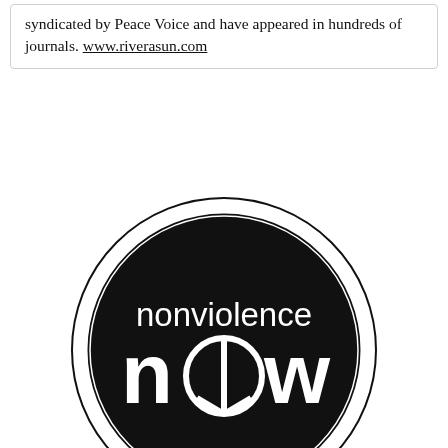syndicated by Peace Voice and have appeared in hundreds of journals. www.riverasun.com
[Figure (logo): Nonviolence Now circular logo — black circle with white double-ring border. Text 'nonviolence' in small white letters on top, 'now' in large bold white letters below with the letter 'o' replaced by a peace symbol.]